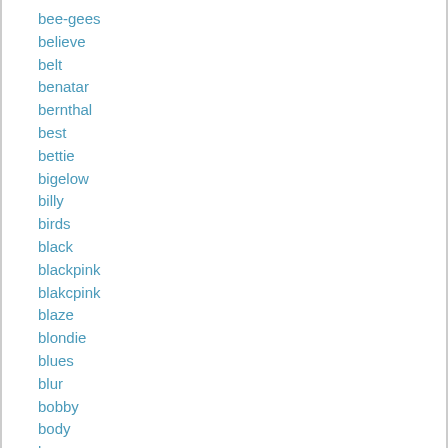bee-gees
believe
belt
benatar
bernthal
best
bettie
bigelow
billy
birds
black
blackpink
blakcpink
blaze
blondie
blues
blur
bobby
body
bone
bono
boss
bossman
boston